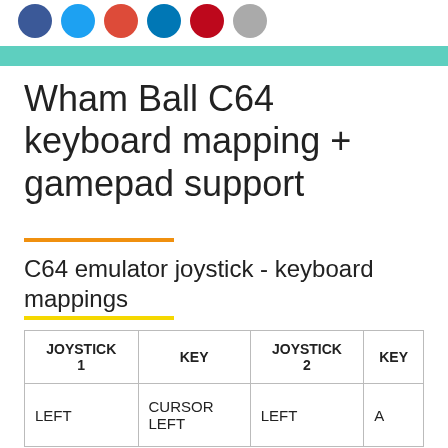[Figure (other): Row of social media icon circles: blue Facebook, blue Twitter, orange-red Google+, blue LinkedIn, red Pinterest, grey email/envelope]
Wham Ball C64 keyboard mapping + gamepad support
C64 emulator joystick - keyboard mappings
| JOYSTICK 1 | KEY | JOYSTICK 2 | KEY |
| --- | --- | --- | --- |
| LEFT | CURSOR LEFT | LEFT | A |